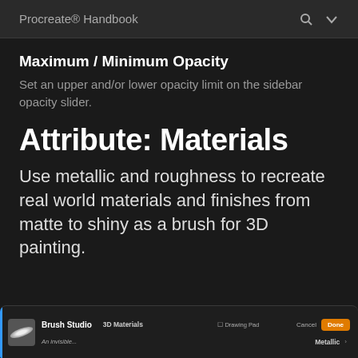Procreate® Handbook
Maximum / Minimum Opacity
Set an upper and/or lower opacity limit on the sidebar opacity slider.
Attribute: Materials
Use metallic and roughness to recreate real world materials and finishes from matte to shiny as a brush for 3D painting.
[Figure (screenshot): Brush Studio UI screenshot showing 3D Materials tab with Metallic option, Drawing Pad toggle, Cancel and Done buttons]